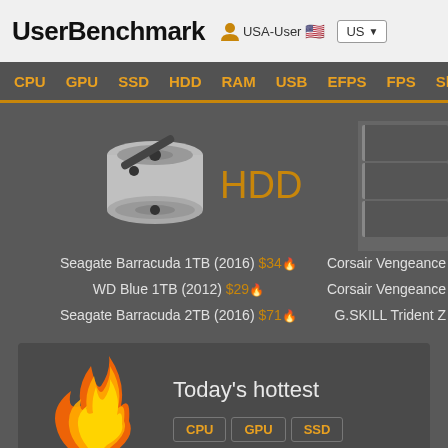UserBenchmark — USA-User US
CPU GPU SSD HDD RAM USB EFPS FPS Sk
[Figure (illustration): HDD hard disk drive icon with the word HDD in orange text, and a partial RAM/storage panel on the right]
Seagate Barracuda 1TB (2016) $34
WD Blue 1TB (2012) $29
Seagate Barracuda 2TB (2016) $71
Corsair Vengeance
Corsair Vengeance
G.SKILL Trident Z
[Figure (illustration): Flame/fire illustration representing Today's hottest section]
Today's hottest
CPU GPU SSD